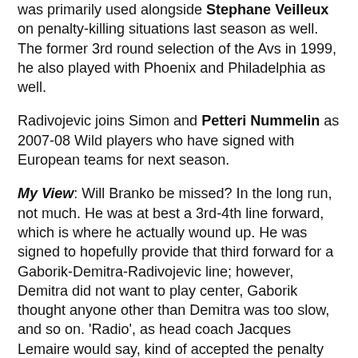was primarily used alongside Stephane Veilleux on penalty-killing situations last season as well. The former 3rd round selection of the Avs in 1999, he also played with Phoenix and Philadelphia as well.
Radivojevic joins Simon and Petteri Nummelin as 2007-08 Wild players who have signed with European teams for next season.
My View: Will Branko be missed? In the long run, not much. He was at best a 3rd-4th line forward, which is where he actually wound up. He was signed to hopefully provide that third forward for a Gaborik-Demitra-Radivojevic line; however, Demitra did not want to play center, Gaborik thought anyone other than Demitra was too slow, and so on. 'Radio', as head coach Jacques Lemaire would say, kind of accepted the penalty killer role in order to stay up on the big roster. After the ACL injury in Game 2 of the Avs series, the Wild realized that only one penalty killer would not do, but with Branko in line for a new contract, they had to get more offense out of that roster spot, given that Demitra would (probably) be gone and the roster was due for an off-season